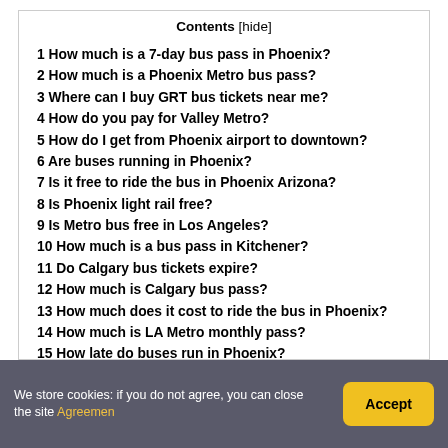Contents [hide]
1 How much is a 7-day bus pass in Phoenix?
2 How much is a Phoenix Metro bus pass?
3 Where can I buy GRT bus tickets near me?
4 How do you pay for Valley Metro?
5 How do I get from Phoenix airport to downtown?
6 Are buses running in Phoenix?
7 Is it free to ride the bus in Phoenix Arizona?
8 Is Phoenix light rail free?
9 Is Metro bus free in Los Angeles?
10 How much is a bus pass in Kitchener?
11 Do Calgary bus tickets expire?
12 How much is Calgary bus pass?
13 How much does it cost to ride the bus in Phoenix?
14 How much is LA Metro monthly pass?
15 How late do buses run in Phoenix?
We store cookies: if you do not agree, you can close the site Agreemen